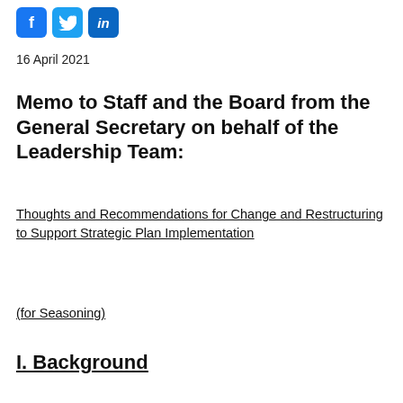[Figure (other): Social media share icons: Facebook, Twitter, LinkedIn]
16 April 2021
Memo to Staff and the Board from the General Secretary on behalf of the Leadership Team:
Thoughts and Recommendations for Change and Restructuring to Support Strategic Plan Implementation
(for Seasoning)
I.  Background